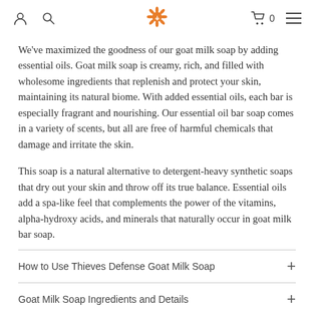Navigation bar with user icon, search icon, brand logo (sunflower), cart (0), and menu icon
We've maximized the goodness of our goat milk soap by adding essential oils. Goat milk soap is creamy, rich, and filled with wholesome ingredients that replenish and protect your skin, maintaining its natural biome. With added essential oils, each bar is especially fragrant and nourishing. Our essential oil bar soap comes in a variety of scents, but all are free of harmful chemicals that damage and irritate the skin.
This soap is a natural alternative to detergent-heavy synthetic soaps that dry out your skin and throw off its true balance. Essential oils add a spa-like feel that complements the power of the vitamins, alpha-hydroxy acids, and minerals that naturally occur in goat milk bar soap.
How to Use Thieves Defense Goat Milk Soap
Goat Milk Soap Ingredients and Details